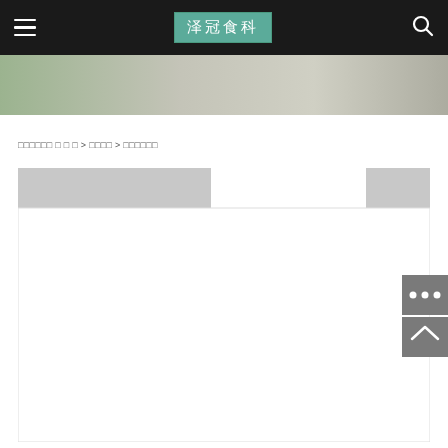泽冠食科 - website header with hamburger menu and search icon
[Figure (photo): Hero banner image strip showing food/nature imagery]
□□□□□□ □ □ □ > □□□□ > □□□□□□
[Figure (screenshot): Content area with grey tab bar, active white tab in center, white content body below]
[Figure (other): Grey sidebar buttons: ellipsis (more) button and up-arrow (back to top) button]